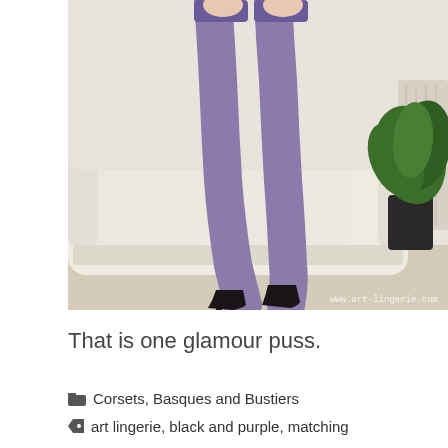[Figure (photo): A woman's legs wearing purple stockings with garter belt and black high heels, posed crossed in front of a cream sofa. A potted palm plant and radiator visible in background. Watermark reads www.art-lingerie.com]
That is one glamour puss.
Corsets, Basques and Bustiers
art lingerie, black and purple, matching